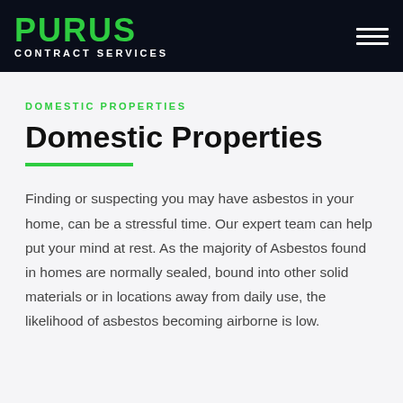PURUS CONTRACT SERVICES
DOMESTIC PROPERTIES
Domestic Properties
Finding or suspecting you may have asbestos in your home, can be a stressful time. Our expert team can help put your mind at rest. As the majority of Asbestos found in homes are normally sealed, bound into other solid materials or in locations away from daily use, the likelihood of asbestos becoming airborne is low.